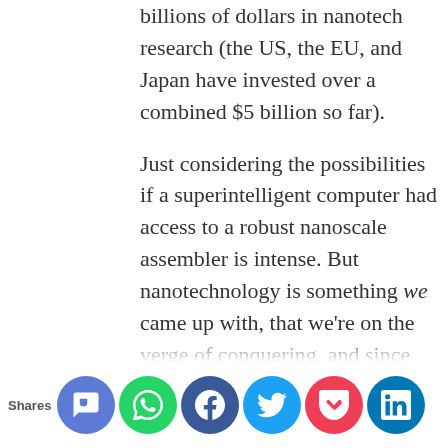billions of dollars in nanotech research (the US, the EU, and Japan have invested over a combined $5 billion so far).
Just considering the possibilities if a superintelligent computer had access to a robust nanoscale assembler is intense. But nanotechnology is something we came up with, that we’re on the verge of conquering, and since anything that we can do is a joke to an ASI system, we have to assume ASI would come up with technologies more powerful and coo…
Shares